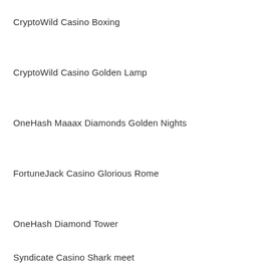CryptoWild Casino Boxing
CryptoWild Casino Golden Lamp
OneHash Maaax Diamonds Golden Nights
FortuneJack Casino Glorious Rome
OneHash Diamond Tower
Syndicate Casino Shark meet